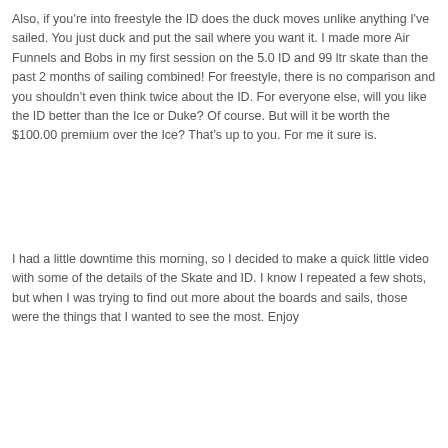Also, if you’re into freestyle the ID does the duck moves unlike anything I've sailed. You just duck and put the sail where you want it. I made more Air Funnels and Bobs in my first session on the 5.0 ID and 99 ltr skate than the past 2 months of sailing combined! For freestyle, there is no comparison and you shouldn’t even think twice about the ID. For everyone else, will you like the ID better than the Ice or Duke? Of course. But will it be worth the $100.00 premium over the Ice? That’s up to you. For me it sure is.
I had a little downtime this morning, so I decided to make a quick little video with some of the details of the Skate and ID. I know I repeated a few shots, but when I was trying to find out more about the boards and sails, those were the things that I wanted to see the most. Enjoy